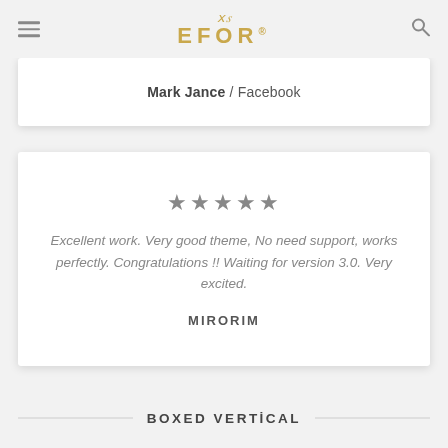EFOR
Mark Jance / Facebook
Excellent work. Very good theme, No need support, works perfectly. Congratulations !! Waiting for version 3.0. Very excited.

MIRORM
BOXED VERTICAL